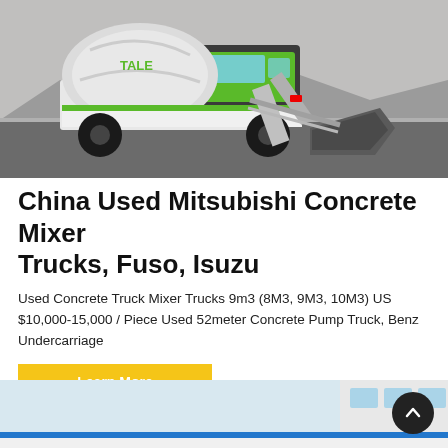[Figure (photo): Green and white self-loading concrete mixer truck (branded TALE) parked on an asphalt surface, with a large front bucket/scoop attachment and rotating drum, mountains in background.]
China Used Mitsubishi Concrete Mixer Trucks, Fuso, Isuzu
Used Concrete Truck Mixer Trucks 9m3 (8M3, 9M3, 10M3) US $10,000-15,000 / Piece Used 52meter Concrete Pump Truck, Benz Undercarriage
Learn More
[Figure (photo): Partial view of a large white vehicle or structure with blue stripe at the bottom of the page.]